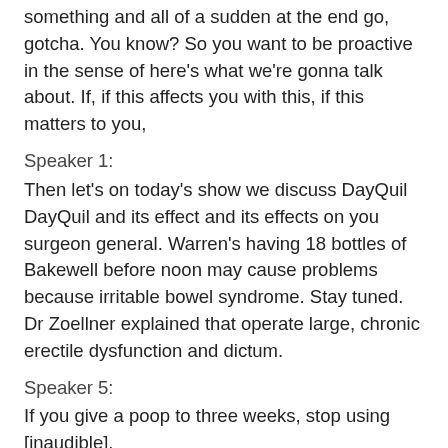something and all of a sudden at the end go, gotcha. You know? So you want to be proactive in the sense of here's what we're gonna talk about. If, if this affects you with this, if this matters to you,
Speaker 1:
Then let's on today's show we discuss DayQuil DayQuil and its effect and its effects on you surgeon general. Warren's having 18 bottles of Bakewell before noon may cause problems because irritable bowel syndrome. Stay tuned. Dr Zoellner explained that operate large, chronic erectile dysfunction and dictum.
Speaker 5:
If you give a poop to three weeks, stop using [inaudible].
Speaker 1:
I mean, this is serious stuff. So keep listening. Oh, this story lights to me. Do you have an addiction to DayQuil on today's show we discuss DayQuil.